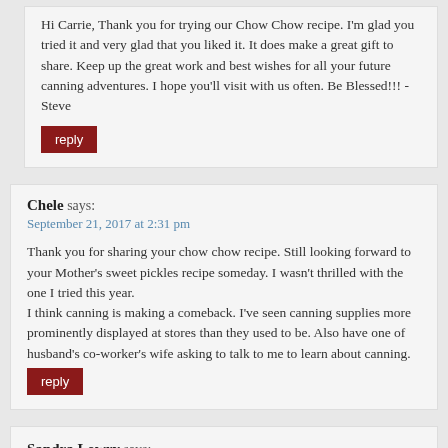Hi Carrie, Thank you for trying our Chow Chow recipe. I'm glad you tried it and very glad that you liked it. It does make a great gift to share. Keep up the great work and best wishes for all your future canning adventures. I hope you'll visit with us often. Be Blessed!!! -Steve
reply
Chele says:
September 21, 2017 at 2:31 pm
Thank you for sharing your chow chow recipe. Still looking forward to your Mother's sweet pickles recipe someday. I wasn't thrilled with the one I tried this year.
I think canning is making a comeback. I've seen canning supplies more prominently displayed at stores than they used to be. Also have one of husband's co-worker's wife asking to talk to me to learn about canning.
reply
Sandra Lowry says: